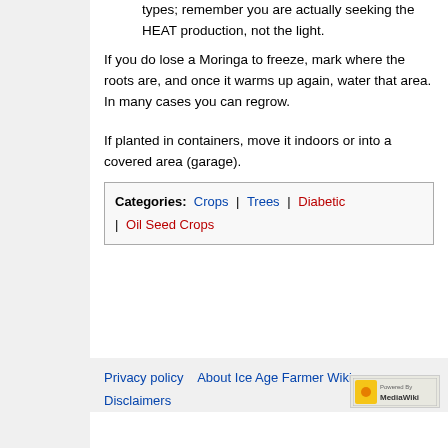incandescent lighting. Hot are flower types; remember you are actually seeking the HEAT production, not the light.
If you do lose a Moringa to freeze, mark where the roots are, and once it warms up again, water that area. In many cases you can regrow.
If planted in containers, move it indoors or into a covered area (garage).
| Categories |
| --- |
| Crops | Trees | Diabetic | Oil Seed Crops |
Privacy policy   About Ice Age Farmer Wiki   Disclaimers